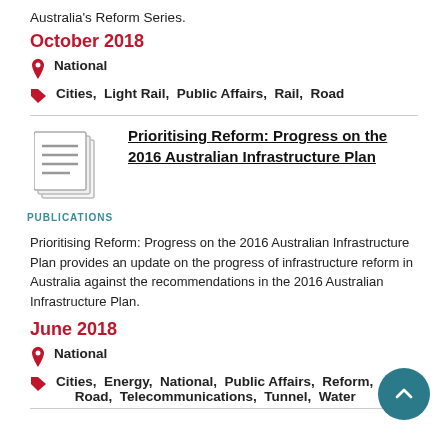Australia's Reform Series.
October 2018
National
Cities,  Light Rail,  Public Affairs,  Rail,  Road
Prioritising Reform: Progress on the 2016 Australian Infrastructure Plan
PUBLICATIONS
Prioritising Reform: Progress on the 2016 Australian Infrastructure Plan provides an update on the progress of infrastructure reform in Australia against the recommendations in the 2016 Australian Infrastructure Plan.
June 2018
National
Cities,  Energy,  National,  Public Affairs,  Reform,  Road,  Telecommunications,  Tunnel,  Water